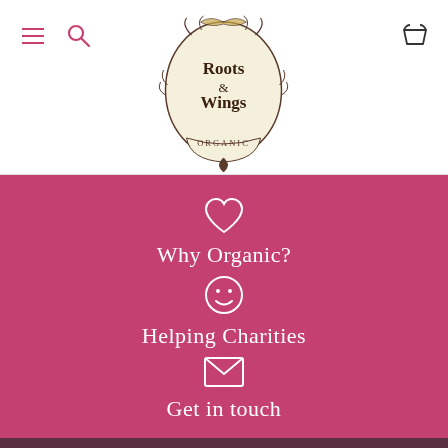Roots & Wings Organic - navigation header
[Figure (logo): Roots & Wings Organic logo — oval frame with decorative flourishes, text 'Roots & Wings ORGANIC' inside]
Why Organic?
Helping Charities
Get in touch
Dark footer strip